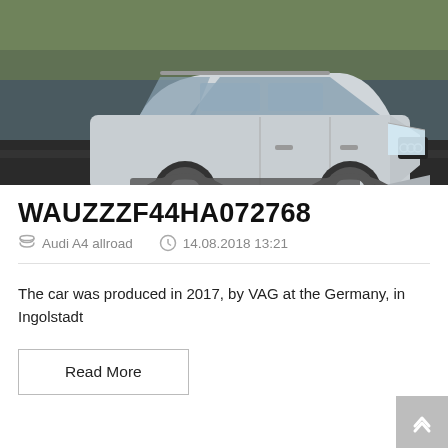[Figure (photo): Silver Audi A4 allroad station wagon driving on a road, photographed from the front-left angle, with blurred background suggesting motion.]
WAUZZZF44HA072768
Audi A4 allroad    14.08.2018 13:21
The car was produced in 2017, by VAG at the Germany, in Ingolstadt
Read More